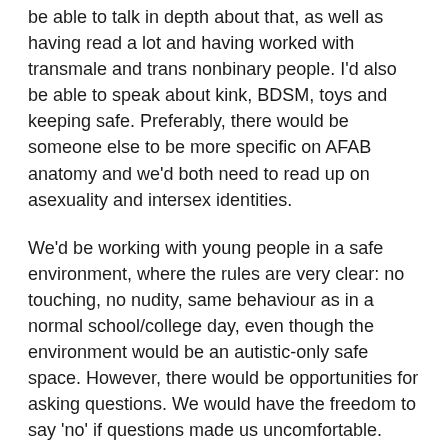be able to talk in depth about that, as well as having read a lot and having worked with transmale and trans nonbinary people. I'd also be able to speak about kink, BDSM, toys and keeping safe. Preferably, there would be someone else to be more specific on AFAB anatomy and we'd both need to read up on asexuality and intersex identities.
We'd be working with young people in a safe environment, where the rules are very clear: no touching, no nudity, same behaviour as in a normal school/college day, even though the environment would be an autistic-only safe space. However, there would be opportunities for asking questions. We would have the freedom to say 'no' if questions made us uncomfortable. That can be used as practice for the consent-approach. Trauma-informed sex education is something that is absolutely vital and many autistic people would benefit greatly from it.
As Erin Ekins said, it's difficult to figure out who we are and